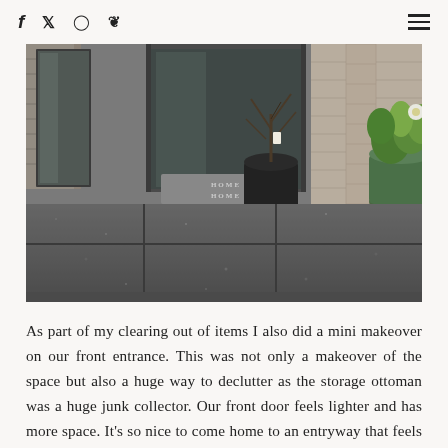f  t  (instagram)  (pinterest)  ≡
[Figure (photo): A front entrance porch with concrete/dark paving stones, a dark doormat reading 'HOME SWEET HOME' in front of a glass door, a black plastic pot with a bare plant, and a large decorative container with green leafy plants on the right side.]
As part of my clearing out of items I also did a mini makeover on our front entrance. This was not only a makeover of the space but also a huge way to declutter as the storage ottoman was a huge junk collector. Our front door feels lighter and has more space. It's so nice to come home to an entryway that feels light and fresh. After taking